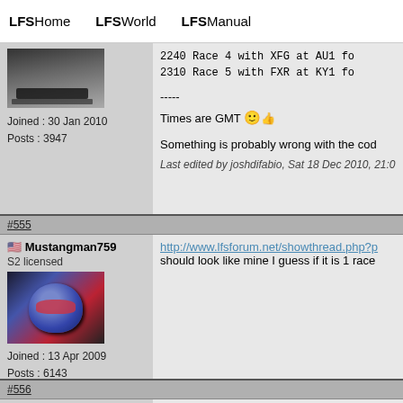LFSHome   LFSWorld   LFSManual
2240 Race 4 with XFG at AU1 fo
2310 Race 5 with FXR at KY1 fo
-----
Times are GMT
Something is probably wrong with the cod
Last edited by joshdifabio, Sat 18 Dec 2010, 21:0
#555
Mustangman759
S2 licensed
Joined : 13 Apr 2009
Posts : 6143
http://www.lfsforum.net/showthread.php?p should look like mine I guess if it is 1 race
#556
Cornys
S3 licensed